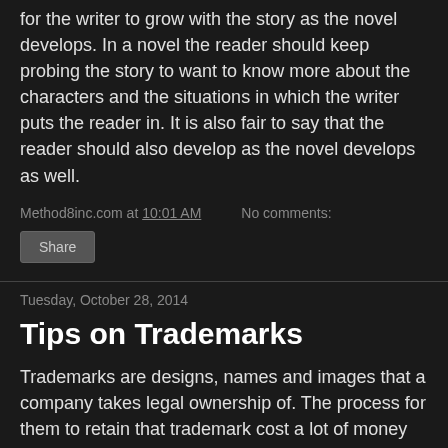for the writer to grow with the story as the novel develops. In a novel the reader should keep probing the story to want to know more about the characters and the situations in which the writer puts the reader in. It is also fair to say that the reader should also develop as the novel develops as well.
Method8inc.com at 10:01 AM   No comments:
Share
Tuesday, October 28, 2014
Tips on Trademarks
Trademarks are designs, names and images that a company takes legal ownership of. The process for them to retain that trademark cost a lot of money and takes time to register. If a certain brand or trademark is used in any fashion without permission and is used to gain the attention of prospects for a profit, things can get out of hand for the person who owns the trademark. In films and other entities that involve production and progress always look for the small TM logo